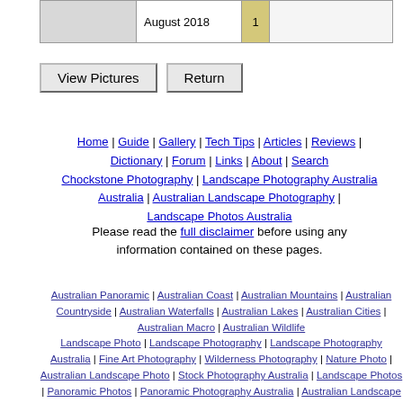|  | August 2018 | 1 |  |
View Pictures   Return
Home | Guide | Gallery | Tech Tips | Articles | Reviews | Dictionary | Forum | Links | About | Search Chockstone Photography | Landscape Photography Australia | Australian Landscape Photography | Landscape Photos Australia
Please read the full disclaimer before using any information contained on these pages.
Australian Panoramic | Australian Coast | Australian Mountains | Australian Countryside | Australian Waterfalls | Australian Lakes | Australian Cities | Australian Macro | Australian Wildlife Landscape Photo | Landscape Photography | Landscape Photography Australia | Fine Art Photography | Wilderness Photography | Nature Photo | Australian Landscape Photo | Stock Photography Australia | Landscape Photos | Panoramic Photos | Panoramic Photography Australia | Australian Landscape Photography | High Country Mountain Huts | Mothers Day Gifts | Gifts for Mothers Day | Mothers Day Gift Ideas | Ideas for Mothers Day | Wedding Gift Ideas | Christmas Gift Ideas | Fathers Day Gifts | Gifts for Fathers Day | Fathers Day Gift Ideas | Ideas for Fathers Day | Landscape Prints | Landscape Poster | Limited Edition Prints | Panoramic Photo | Buy Posters | Poster Prints